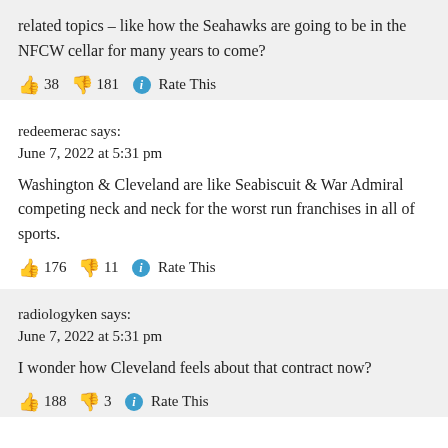related topics – like how the Seahawks are going to be in the NFCW cellar for many years to come?
👍 38 👎 181 ℹ Rate This
redeemerac says:
June 7, 2022 at 5:31 pm
Washington & Cleveland are like Seabiscuit & War Admiral competing neck and neck for the worst run franchises in all of sports.
👍 176 👎 11 ℹ Rate This
radiologyken says:
June 7, 2022 at 5:31 pm
I wonder how Cleveland feels about that contract now?
👍 188 👎 3 ℹ Rate This